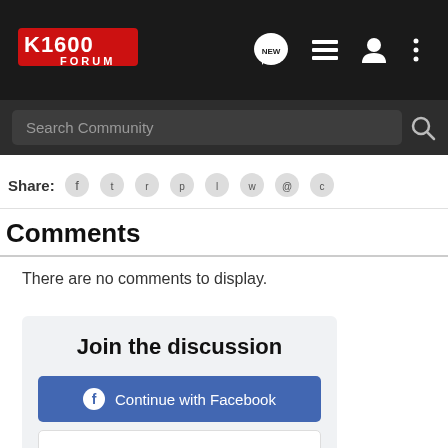K1600 Forum – navigation bar with search
Share:
Comments
There are no comments to display.
Join the discussion
Continue with Facebook
Continue with Google
or sign up with email